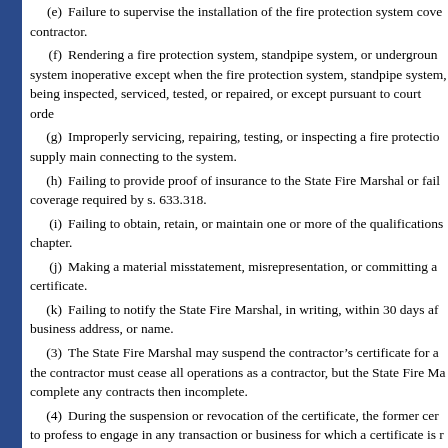(e) Failure to supervise the installation of the fire protection system covered by the contractor.
(f) Rendering a fire protection system, standpipe system, or underground system inoperative except when the fire protection system, standpipe system, being inspected, serviced, tested, or repaired, or except pursuant to court order.
(g) Improperly servicing, repairing, testing, or inspecting a fire protection supply main connecting to the system.
(h) Failing to provide proof of insurance to the State Fire Marshal or failing coverage required by s. 633.318.
(i) Failing to obtain, retain, or maintain one or more of the qualifications chapter.
(j) Making a material misstatement, misrepresentation, or committing a certificate.
(k) Failing to notify the State Fire Marshal, in writing, within 30 days of business address, or name.
(3) The State Fire Marshal may suspend the contractor's certificate for a the contractor must cease all operations as a contractor, but the State Fire Marshal complete any contracts then incomplete.
(4) During the suspension or revocation of the certificate, the former certificate to profess to engage in any transaction or business for which a certificate is required indirectly own, control, or be employed in any manner by any firm or corporation chapter is required. The department shall not, so long as the revocation or suspension certificate for the establishment of any new firm, business, or corporation of